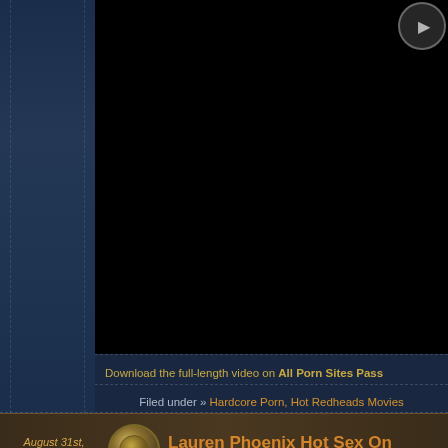[Figure (screenshot): Dark/black video player area with play button icon in top right corner]
Download the full-length video on All Porn Sites Pass
Filed under » Hardcore Porn, Hot Redheads Movies
August 31st, 2019
Lauren Phoenix Hot Sex On
Posted by: Madeline
Alright, we have this video from our friends over at All Porn Sites the sexy Lauren Phoenix taking a cock balls deep inside her po